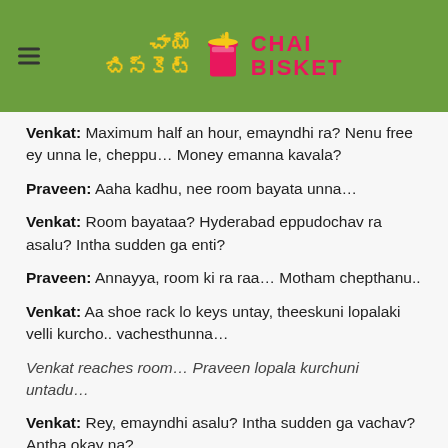Chai Bisket
Venkat: Maximum half an hour, emayndhi ra? Nenu free ey unna le, cheppu… Money emanna kavala?
Praveen: Aaha kadhu, nee room bayata unna…
Venkat: Room bayataa? Hyderabad eppudochav ra asalu? Intha sudden ga enti?
Praveen: Annayya, room ki ra raa… Motham chepthanu..
Venkat: Aa shoe rack lo keys untay, theeskuni lopalaki velli kurcho.. vachesthunna…
Venkat reaches room… Praveen lopala kurchuni untadu…
Venkat: Rey, emayndhi asalu? Intha sudden ga vachav? Antha okay na?